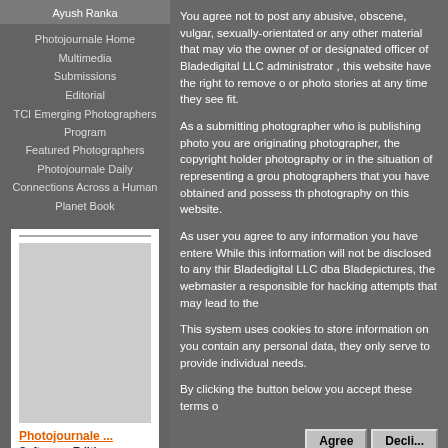Ayush Ranka
Photojournale Home
Multimedia
Submissions
Editorial
TCI Emerging Photographers Program
Featured Photographers
Photojournale Daily
Connections Across a Human Planet Book
[Figure (other): Book cover panel with title Photojournale ..., Softcover Edition, By Photojournale]
You agree not to post any abusive, obscene, vulgar, sexually-orientated or any other material that may vio the owner of or designated officer of Bladedigital LLC administrator , this website have the right to remove o or photo stories at any time they see fit.
As a submitting photographer who is publishing photo you are originating photographer, the copyright holder photography or in the situation of representing a grou photographers that you have obtained and possess th photography on this website.
As user you agree to any information you have entere While this information will not be disclosed to any thir Bladedigital LLC dba Bladepictures, the webmaster a responsible for hacking attempts that may lead to the
This system uses cookies to store information on you contain any personal data, they only serve to provide individual needs.
By clicking the button below you accept these terms o
Agree
Decline